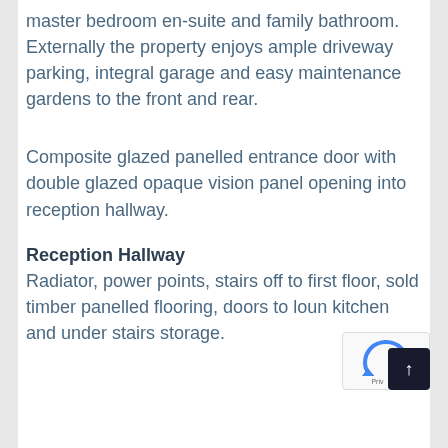master bedroom en-suite and family bathroom. Externally the property enjoys ample driveway parking, integral garage and easy maintenance gardens to the front and rear.
Composite glazed panelled entrance door with double glazed opaque vision panel opening into reception hallway.
Reception Hallway
Radiator, power points, stairs off to first floor, sold timber panelled flooring, doors to loun kitchen and under stairs storage.